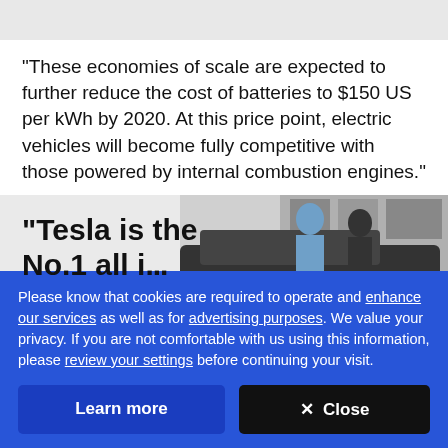"These economies of scale are expected to further reduce the cost of batteries to $150 US per kWh by 2020. At this price point, electric vehicles will become fully competitive with those powered by internal combustion engines."
[Figure (photo): Partially visible photo of people near a dark car, with large bold text overlay reading "“Tesla is the No.1 all i..." (text is cut off)]
Please know that cookies are required to operate and enhance our services as well as for advertising purposes. We value your privacy. If you are not comfortable with us using this information, please review your settings before continuing your visit.
Learn more
× Close